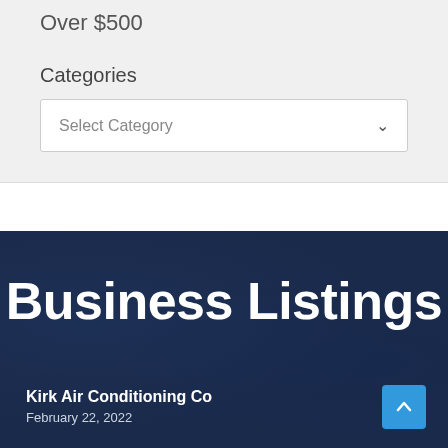Over $500
Categories
Select Category
Business Listings
Kirk Air Conditioning Co
February 22, 2022